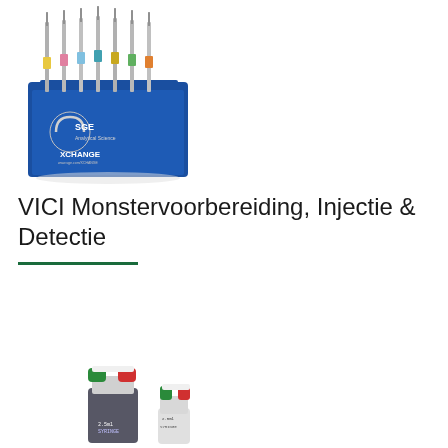[Figure (photo): Blue SGE Analytical Science XCHANGE syringe display stand holding multiple colored syringes]
VICI Monstervoorbereiding, Injectie & Detectie
[Figure (photo): Two laboratory sampling bottles/flasks with green and red valve caps (VICI precision sampling products)]